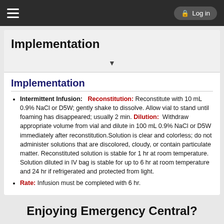Implementation  Log in
Implementation
Implementation
Intermittent Infusion: Reconstitution: Reconstitute with 10 mL 0.9% NaCl or D5W; gently shake to dissolve. Allow vial to stand until foaming has disappeared; usually 2 min. Dilution: Withdraw appropriate volume from vial and dilute in 100 mL 0.9% NaCl or D5W immediately after reconstitution.Solution is clear and colorless; do not administer solutions that are discolored, cloudy, or contain particulate matter. Reconstituted solution is stable for 1 hr at room temperature. Solution diluted in IV bag is stable for up to 6 hr at room temperature and 24 hr if refrigerated and protected from light.
Rate: Infusion must be completed with 6 hr.
Enjoying Emergency Central?
Purchase a subscription
I'm already a subscriber